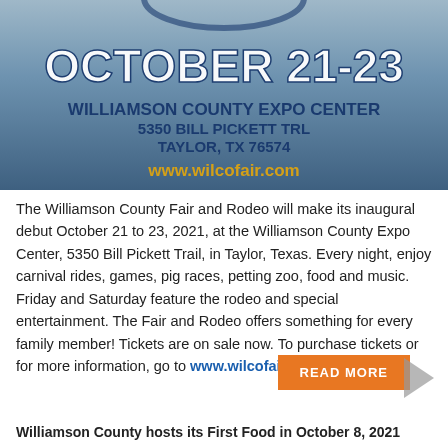[Figure (illustration): Event banner for Williamson County Fair and Rodeo showing 'OCTOBER 21-23', 'WILLIAMSON COUNTY EXPO CENTER', '5350 BILL PICKETT TRL', 'TAYLOR, TX 76574', 'www.wilcofair.com' on a blue/grey background with fair imagery]
The Williamson County Fair and Rodeo will make its inaugural debut October 21 to 23, 2021, at the Williamson County Expo Center, 5350 Bill Pickett Trail, in Taylor, Texas. Every night, enjoy carnival rides, games, pig races, petting zoo, food and music. Friday and Saturday feature the rodeo and special entertainment. The Fair and Rodeo offers something for every family member! Tickets are on sale now. To purchase tickets or for more information, go to www.wilcofair.com.
READ MORE
Williamson County hosts its First Food in October 8, 2021